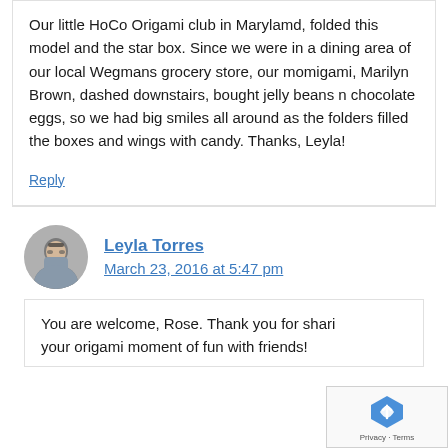Our little HoCo Origami club in Marylamd, folded this model and the star box. Since we were in a dining area of our local Wegmans grocery store, our momigami, Marilyn Brown, dashed downstairs, bought jelly beans n chocolate eggs, so we had big smiles all around as the folders filled the boxes and wings with candy. Thanks, Leyla!
Reply
Leyla Torres
March 23, 2016 at 5:47 pm
You are welcome, Rose. Thank you for sharing your origami moment of fun with friends!